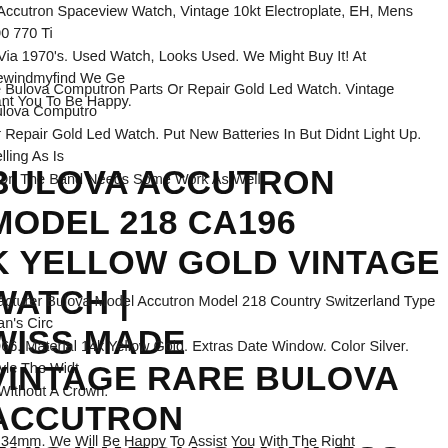a Accutron Spaceview Watch, Vintage 10kt Electroplate, EH, Mens 700 770 Ti h Via 1970's. Used Watch, Looks Used. We Might Buy It! At Rewindmyfind We Ge Vant You To Be Happy.
ge Bulova Computron Parts Or Repair Gold Led Watch. Vintage Bulova Computro Or Repair Gold Led Watch. Put New Batteries In But Didnt Light Up. Selling As Is o On The Band Needs Some Work As Well.
BULOVA ACCUTRON MODEL 218 CA196 K YELLOW GOLD VINTAGE WATCH | WISS MADE
nfacturer Bulova Model Accutron Model 218 Country Switzerland Type Man's Circ 1966. Material 14k Yellow Gold. Extras Date Window. Color Silver. Style The Widt n Without A Crown.
VINTAGE RARE BULOVA ACCUTRON EN'S WATCH STAINLESS STEEL SILVE AL CIRCA 1970S
th 34mm. We Will Be Happy To Assist You With The Right Informations.